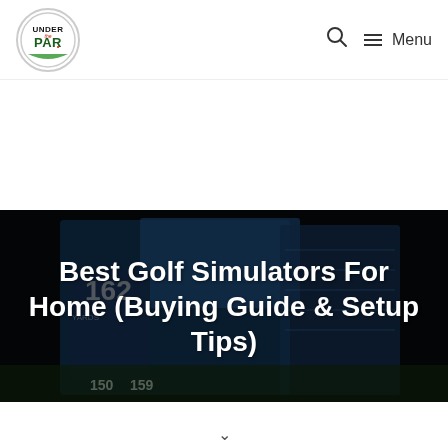Under Par logo, Search, Menu
Best Golf Simulators For Home (Buying Guide & Setup Tips)